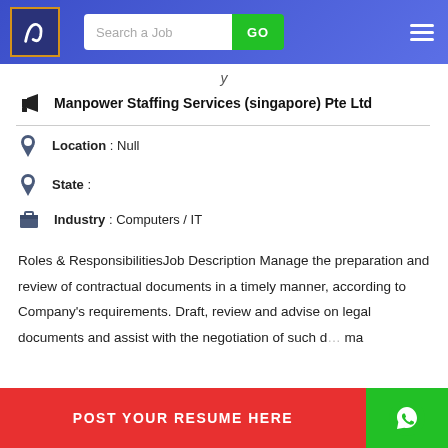Search a Job | GO
Manpower Staffing Services (singapore) Pte Ltd
Location : Null
State :
Industry : Computers / IT
Roles & ResponsibilitiesJob Description Manage the preparation and review of contractual documents in a timely manner, according to Company's requirements. Draft, review and advise on legal documents and assist with the negotiation of such d... ma...
POST YOUR RESUME HERE